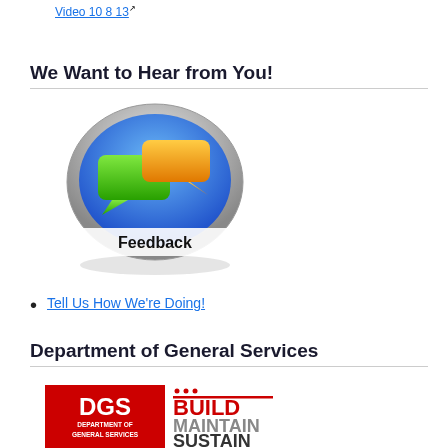Video 10 8 13 [external link]
We Want to Hear from You!
[Figure (illustration): Feedback button icon: silver oval button with blue background containing a green chat bubble and an orange chat bubble, with the word 'Feedback' written below them. A shadow appears beneath the button.]
Tell Us How We're Doing!
Department of General Services
[Figure (logo): DGS Department of General Services logo on the left (red square with white DGS text and 'DEPARTMENT OF GENERAL SERVICES' below in small white text), and on the right in red and dark text: 'BUILD MAINTAIN SUSTAIN' with DC flag dots above BUILD.]